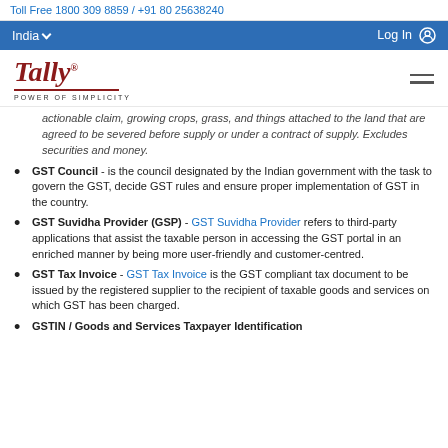Toll Free 1800 309 8859 / +91 80 25638240
India  Log In
[Figure (logo): Tally logo with 'POWER OF SIMPLICITY' tagline]
actionable claim, growing crops, grass, and things attached to the land that are agreed to be severed before supply or under a contract of supply. Excludes securities and money.
GST Council - is the council designated by the Indian government with the task to govern the GST, decide GST rules and ensure proper implementation of GST in the country.
GST Suvidha Provider (GSP) - GST Suvidha Provider refers to third-party applications that assist the taxable person in accessing the GST portal in an enriched manner by being more user-friendly and customer-centred.
GST Tax Invoice - GST Tax Invoice is the GST compliant tax document to be issued by the registered supplier to the recipient of taxable goods and services on which GST has been charged.
GSTIN / Goods and Services Taxpayer Identification